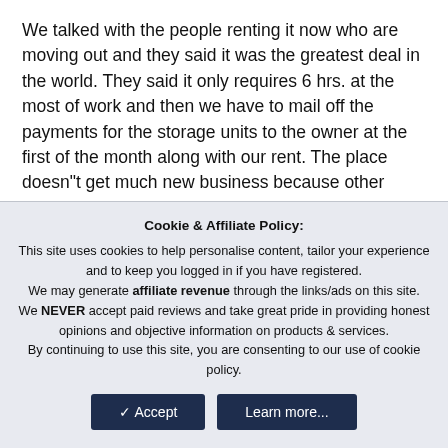We talked with the people renting it now who are moving out and they said it was the greatest deal in the world. They said it only requires 6 hrs. at the most of work and then we have to mail off the payments for the storage units to the owner at the first of the month along with our rent. The place doesn"t get much new business because other companies have built brand new places and have security and everything and charging the same price. We are only going to pay $350 a month and that includes ALL utilities.......it"s a pretty amazing
Cookie & Affiliate Policy: This site uses cookies to help personalise content, tailor your experience and to keep you logged in if you have registered. We may generate affiliate revenue through the links/ads on this site. We NEVER accept paid reviews and take great pride in providing honest opinions and objective information on products & services. By continuing to use this site, you are consenting to our use of cookie policy.